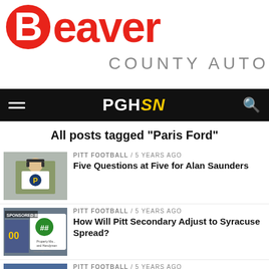[Figure (logo): Beaver County Auto logo with red circle B and red Beaver text, gray COUNTY AUTO text]
[Figure (screenshot): PGHSN navigation bar in black with hamburger menu and search icon]
All posts tagged "Paris Ford"
[Figure (photo): Thumbnail photo of a Pitt football coach on sideline]
PITT FOOTBALL / 5 years ago
Five Questions at Five for Alan Saunders
[Figure (photo): Thumbnail showing sponsored content image with football player and property management ad]
PITT FOOTBALL / 5 years ago
How Will Pitt Secondary Adjust to Syracuse Spread?
[Figure (photo): Thumbnail photo of football game action]
PITT FOOTBALL / 5 years ago